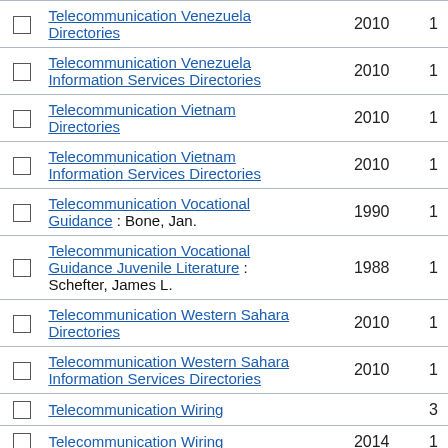|  | Title | Year | Count |
| --- | --- | --- | --- |
| ☐ | Telecommunication Venezuela Directories | 2010 | 1 |
| ☐ | Telecommunication Venezuela Information Services Directories | 2010 | 1 |
| ☐ | Telecommunication Vietnam Directories | 2010 | 1 |
| ☐ | Telecommunication Vietnam Information Services Directories | 2010 | 1 |
| ☐ | Telecommunication Vocational Guidance : Bone, Jan. | 1990 | 1 |
| ☐ | Telecommunication Vocational Guidance Juvenile Literature : Schefter, James L. | 1988 | 1 |
| ☐ | Telecommunication Western Sahara Directories | 2010 | 1 |
| ☐ | Telecommunication Western Sahara Information Services Directories | 2010 | 1 |
| ☐ | Telecommunication Wiring |  | 3 |
| ☐ | Telecommunication Wiring | 2014 | 1 |